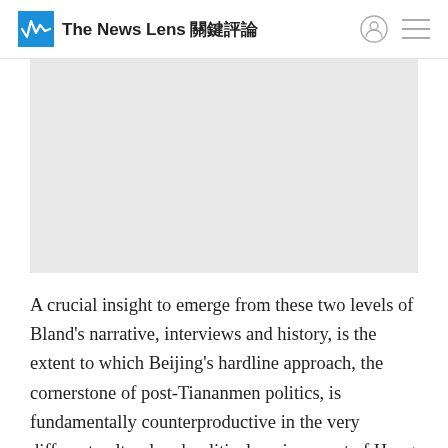The News Lens 關鍵評論
[Figure (photo): Gray rectangular image placeholder area]
A crucial insight to emerge from these two levels of Bland's narrative, interviews and history, is the extent to which Beijing's hardline approach, the cornerstone of post-Tiananmen politics, is fundamentally counterproductive in the very different cultural and political environment of Hong Kong. As Bland states, "the Communist hard-